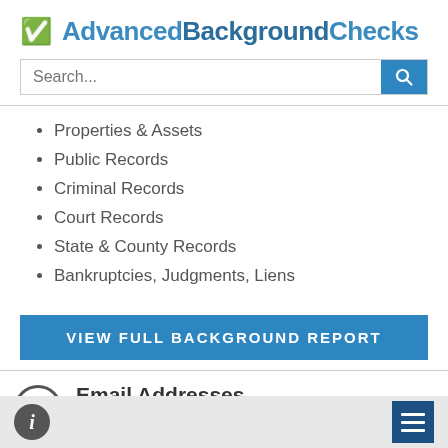AdvancedBackgroundChecks
Properties & Assets
Public Records
Criminal Records
Court Records
State & County Records
Bankruptcies, Judgments, Liens
VIEW FULL BACKGROUND REPORT
Email Addresses
porscher@verizon.net
i | menu